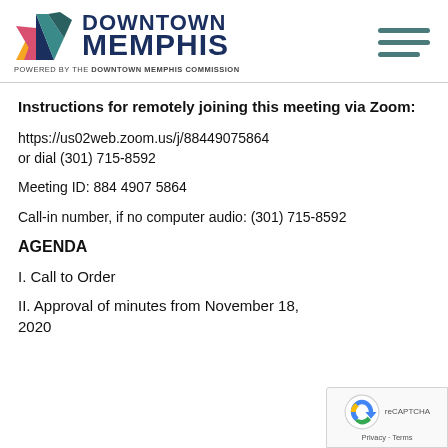[Figure (logo): Downtown Memphis logo with colorful geometric mark on left, bold DOWNTOWN MEMPHIS text, and tagline POWERED BY THE DOWNTOWN MEMPHIS COMMISSION below]
Instructions for remotely joining this meeting via Zoom:
https://us02web.zoom.us/j/88449075864 or dial (301) 715-8592
Meeting ID: 884 4907 5864
Call-in number, if no computer audio: (301) 715-8592
AGENDA
I. Call to Order
II. Approval of minutes from November 18, 2020